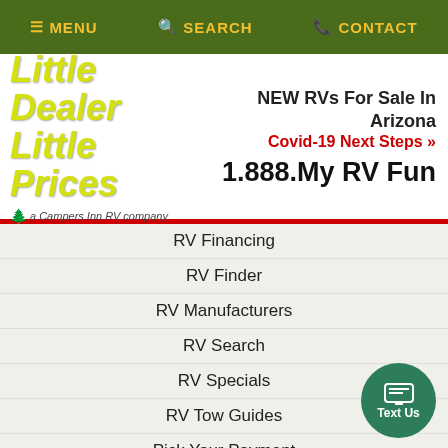≡ MENU  🔍 SEARCH  📞 CONTACT
[Figure (logo): Little Dealer Little Prices - a Campers Inn RV company logo with yellow-green italic text]
NEW RVs For Sale In Arizona
Covid-19 Next Steps »
1.888.My RV Fun
RV Financing
RV Finder
RV Manufacturers
RV Search
RV Specials
RV Tow Guides
Pick Your Payment
Value Your Trade
Virtual Lot
Shopping Help
Truck Accessories Covers
Camper Shell Financing